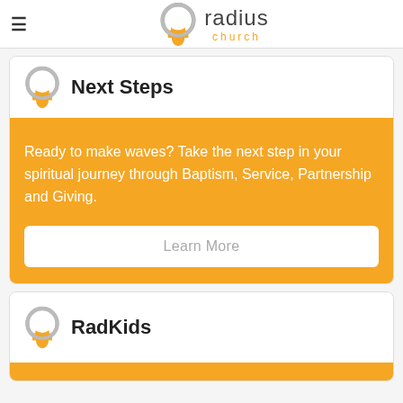radius church
Next Steps
Ready to make waves? Take the next step in your spiritual journey through Baptism, Service, Partnership and Giving.
Learn More
RadKids